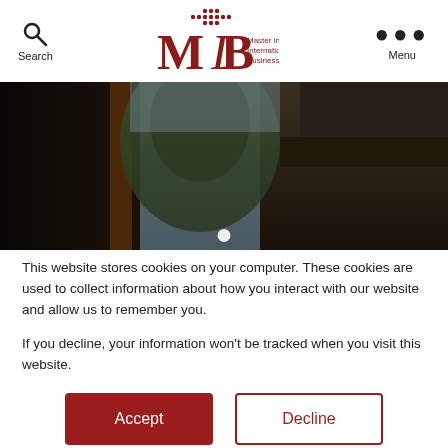[Figure (logo): MIB Master in International Business logo with red cross/plus dot pattern above letters MIB]
[Figure (photo): Dark architectural photo showing building structures and a tree against overcast sky, used as hero banner]
This website stores cookies on your computer. These cookies are used to collect information about how you interact with our website and allow us to remember you.
If you decline, your information won't be tracked when you visit this website.
Accept
Decline